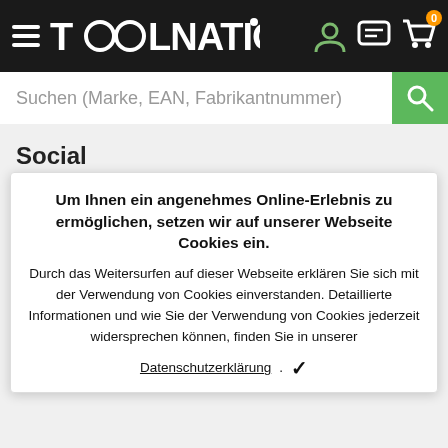[Figure (screenshot): Toolnation website header with logo, hamburger menu, user icon, chat icon, and cart icon with orange badge showing 0]
[Figure (screenshot): Search bar with placeholder text 'Suchen (Marke, EAN, Fabrikantnummer)' and green search button]
Social
[Figure (screenshot): Faded social media icons: Facebook, Instagram, YouTube]
Um Ihnen ein angenehmes Online-Erlebnis zu ermöglichen, setzen wir auf unserer Webseite Cookies ein. Durch das Weitersurfen auf dieser Webseite erklären Sie sich mit der Verwendung von Cookies einverstanden. Detaillierte Informationen und wie Sie der Verwendung von Cookies jederzeit widersprechen können, finden Sie in unserer Datenschutzerklärung.
Sie können bezahlen mit:
[Figure (screenshot): Faded payment method icons: ideal, Bancontact, VISA, Mastercard, PayPal, KBC, and others]
Wir liefern mit: